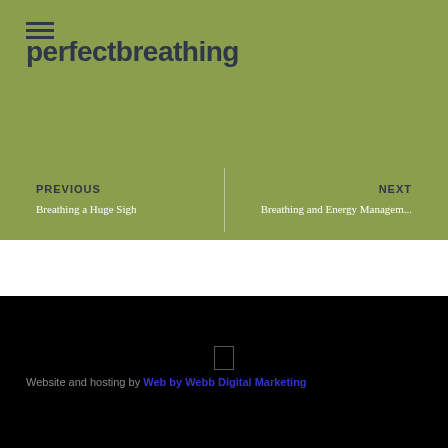perfectbreathing
PREVIOUS
Breathing a Huge Sigh
NEXT
Breathing and Energy Managem...
© Copyright Perfect Breathing 2021
Website and hosting by Web by Webb Digital Marketing